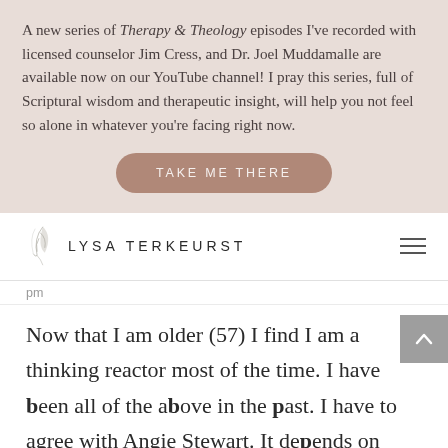A new series of Therapy & Theology episodes I've recorded with licensed counselor Jim Cress, and Dr. Joel Muddamalle are available now on our YouTube channel! I pray this series, full of Scriptural wisdom and therapeutic insight, will help you not feel so alone in whatever you're facing right now.
TAKE ME THERE
[Figure (logo): Lysa TerKeurst logo with decorative leaf/branch illustration and text 'LYSA TERKEURST' in spaced uppercase letters, hamburger menu icon on the right]
pm
Now that I am older (57) I find I am a thinking reactor most of the time. I have been all of the above in the past. I have to agree with Angie Stewart. It depends on who it involves.